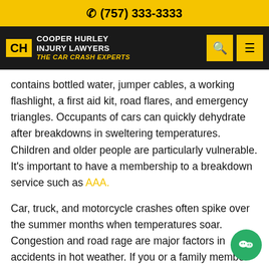(757) 333-3333
[Figure (logo): Cooper Hurley Injury Lawyers logo with yellow CHI badge, white firm name text, and yellow italic tagline 'THE CAR CRASH EXPERTS' on black background, with yellow search and menu icons]
contains bottled water, jumper cables, a working flashlight, a first aid kit, road flares, and emergency triangles. Occupants of cars can quickly dehydrate after breakdowns in sweltering temperatures. Children and older people are particularly vulnerable. It's important to have a membership to a breakdown service such as AAA.
Car, truck, and motorcycle crashes often spike over the summer months when temperatures soar. Congestion and road rage are major factors in accidents in hot weather. If you or a family member